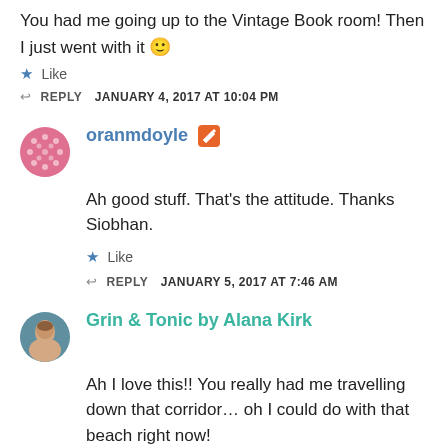You had me going up to the Vintage Book room! Then I just went with it 🙂
★ Like
↩ REPLY   JANUARY 4, 2017 AT 10:04 PM
oranmdoyle [edit icon]
Ah good stuff. That's the attitude. Thanks Siobhan.
★ Like
↩ REPLY   JANUARY 5, 2017 AT 7:46 AM
Grin & Tonic by Alana Kirk
Ah I love this!! You really had me travelling down that corridor… oh I could do with that beach right now!